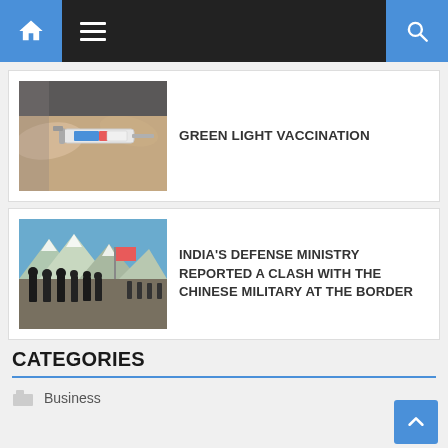Navigation bar with home, menu, and search icons
[Figure (photo): Hands holding a vaccine vial and syringe]
GREEN LIGHT VACCINATION
[Figure (photo): Military soldiers marching at a border area with flags and mountains in background]
INDIA'S DEFENSE MINISTRY REPORTED A CLASH WITH THE CHINESE MILITARY AT THE BORDER
CATEGORIES
Business